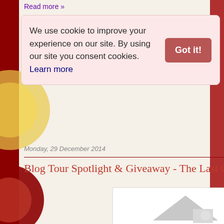Read more »
We use cookie to improve your experience on our site. By using our site you consent cookies. Learn more
Got it!
Monday, 29 December 2014
Blog Tour Spotlight & Giveaway - The Last Gu
[Figure (photo): Book cover or blog graphic image placeholder shown as white box with a gray triangular/house shape icon in the bottom right corner]